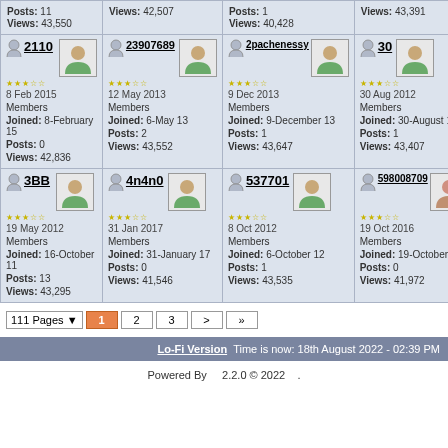| Posts: 11
Views: 43,550 | Views: 42,507 | Posts: 1
Views: 40,428 | Views: 43,391 |
| 2110 | 8 Feb 2015 | Members | Joined: 8-February 15 | Posts: 0 | Views: 42,836 | 23907689 | 12 May 2013 | Members | Joined: 6-May 13 | Posts: 2 | Views: 43,552 | 2pachenessy | 9 Dec 2013 | Members | Joined: 9-December 13 | Posts: 1 | Views: 43,647 | 30 | 30 Aug 2012 | Members | Joined: 30-August 12 | Posts: 1 | Views: 43,407 |
| 3BB | 19 May 2012 | Members | Joined: 16-October 11 | Posts: 13 | Views: 43,295 | 4n4n0 | 31 Jan 2017 | Members | Joined: 31-January 17 | Posts: 0 | Views: 41,546 | 537701 | 8 Oct 2012 | Members | Joined: 6-October 12 | Posts: 1 | Views: 43,535 | 598008709 | 19 Oct 2016 | Members | Joined: 19-October 16 | Posts: 0 | Views: 41,972 |
111 Pages | 1 | 2 | 3 | > | »
Lo-Fi Version   Time is now: 18th August 2022 - 02:39 PM
Powered By   2.2.0 © 2022   .